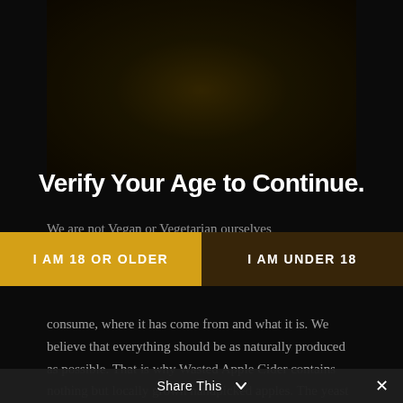[Figure (photo): Dark background photo of cider bottles or beverages, dimly lit with golden/amber tones]
Verify Your Age to Continue.
We are not Vegan or Vegetarian ourselves
I AM 18 OR OLDER
I AM UNDER 18
consume, where it has come from and what it is. We believe that everything should be as naturally produced as possible. That is why Wasted Apple Cider contains nothing but locally grown handpicked apples. The yeast that is used to fer... the apples is what is
Share This ∨